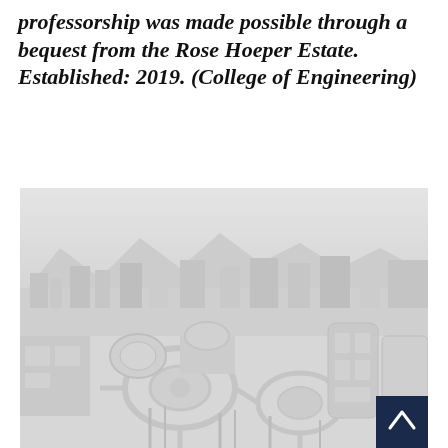professorship was made possible through a bequest from the Rose Hoeper Estate. Established: 2019. (College of Engineering)
[Figure (photo): Aerial black and white photograph of a university campus with circular plazas, modern buildings, mountains in the background, and a back-to-top navigation button in the lower right corner.]